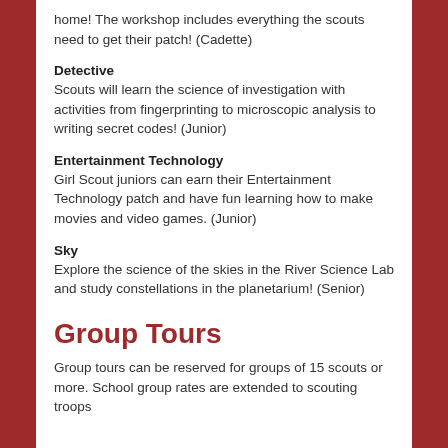home! The workshop includes everything the scouts need to get their patch! (Cadette)
Detective
Scouts will learn the science of investigation with activities from fingerprinting to microscopic analysis to writing secret codes! (Junior)
Entertainment Technology
Girl Scout juniors can earn their Entertainment Technology patch and have fun learning how to make movies and video games. (Junior)
Sky
Explore the science of the skies in the River Science Lab and study constellations in the planetarium! (Senior)
Group Tours
Group tours can be reserved for groups of 15 scouts or more. School group rates are extended to scouting troops